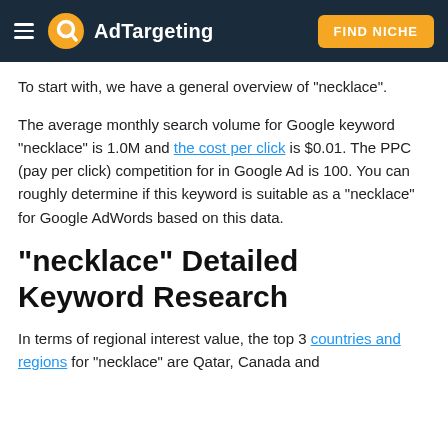AdTargeting | FIND NICHE
To start with, we have a general overview of "necklace".
The average monthly search volume for Google keyword "necklace" is 1.0M and the cost per click is $0.01. The PPC (pay per click) competition for in Google Ad is 100. You can roughly determine if this keyword is suitable as a "necklace" for Google AdWords based on this data.
"necklace" Detailed Keyword Research
In terms of regional interest value, the top 3 countries and regions for "necklace" are Qatar, Canada and